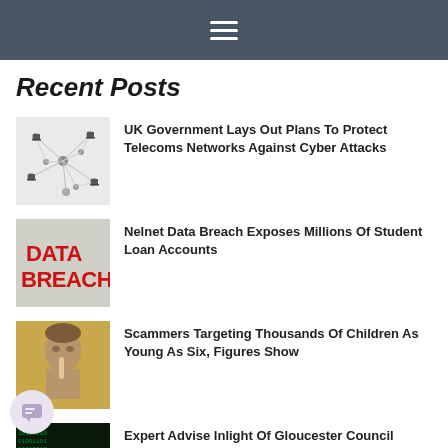☰
Recent Posts
[Figure (illustration): Network of connected computers/nodes on white background]
UK Government Lays Out Plans To Protect Telecoms Networks Against Cyber Attacks
[Figure (photo): Data Breach text in red on grey background]
Nelnet Data Breach Exposes Millions Of Student Loan Accounts
[Figure (photo): Woman with finger to lips (shh gesture) on golden background]
Scammers Targeting Thousands Of Children As Young As Six, Figures Show
[Figure (photo): Green binary code with human figure silhouette]
Expert Advise Inlight Of Gloucester Council Cyberattack